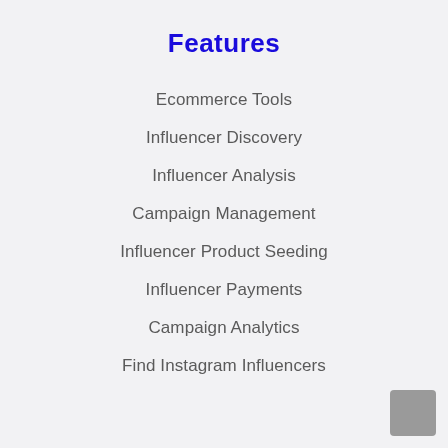Features
Ecommerce Tools
Influencer Discovery
Influencer Analysis
Campaign Management
Influencer Product Seeding
Influencer Payments
Campaign Analytics
Find Instagram Influencers